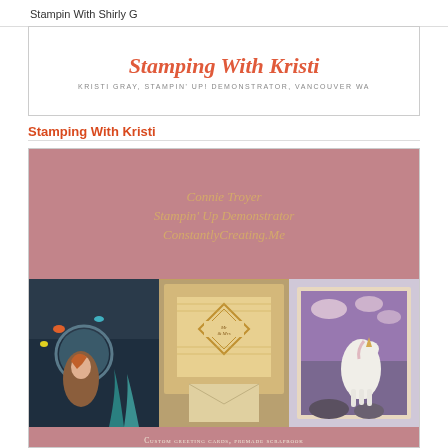Stampin With Shirly G
[Figure (screenshot): Blog header for 'Stamping With Kristi' — Kristi Gray, Stampin' Up! Demonstrator, Vancouver WA — shown in a bordered card with coral script title and gray uppercase subtitle]
Stamping With Kristi
[Figure (illustration): Blog promotional image for Connie Troyer, Stampin' Up Demonstrator, ConstantlyCreating.Me. Pink/mauve background with gold italic script text on top half. Bottom half shows three crafting images: a mermaid scene card, a Mr & Mrs gold patterned card, and a unicorn framed print. Footer text: Custom greeting cards, premade scrapbook layouts, and Stampin' Up craft supplies. thelittlewhatnotshop.etsy.com]